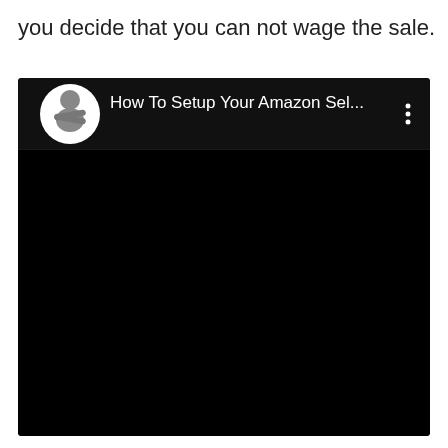you decide that you can not wage the sale.
[Figure (screenshot): A dark/black video player interface showing a YouTube-style video thumbnail. A circular avatar of a man in a grey shirt with arms crossed is shown in the top-left corner. The video title reads 'How To Setup Your Amazon Sel...' in white text. A three-dot menu icon is visible in the top-right area. The rest of the video area is solid black.]